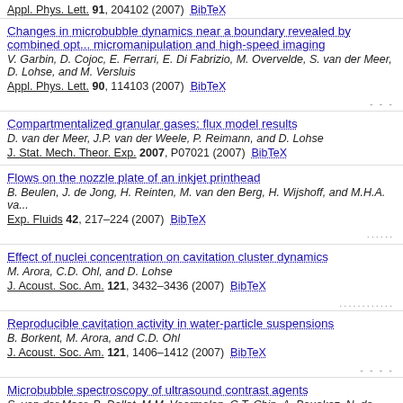Appl. Phys. Lett. 91, 204102 (2007)  BibTeX
Changes in microbubble dynamics near a boundary revealed by combined optical micromanipulation and high-speed imaging
V. Garbin, D. Cojoc, E. Ferrari, E. Di Fabrizio, M. Overvelde, S. van der Meer, D. Lohse, and M. Versluis
Appl. Phys. Lett. 90, 114103 (2007)  BibTeX
Compartmentalized granular gases: flux model results
D. van der Meer, J.P. van der Weele, P. Reimann, and D. Lohse
J. Stat. Mech. Theor. Exp. 2007, P07021 (2007)  BibTeX
Flows on the nozzle plate of an inkjet printhead
B. Beulen, J. de Jong, H. Reinten, M. van den Berg, H. Wijshoff, and M.H.A. va...
Exp. Fluids 42, 217–224 (2007)  BibTeX
Effect of nuclei concentration on cavitation cluster dynamics
M. Arora, C.D. Ohl, and D. Lohse
J. Acoust. Soc. Am. 121, 3432–3436 (2007)  BibTeX
Reproducible cavitation activity in water-particle suspensions
B. Borkent, M. Arora, and C.D. Ohl
J. Acoust. Soc. Am. 121, 1406–1412 (2007)  BibTeX
Microbubble spectroscopy of ultrasound contrast agents
S. van der Meer, B. Dollet, M.M. Voormolen, C.T. Chin, A. Bouakaz, N. de Jong, Versluis, and D. Lohse